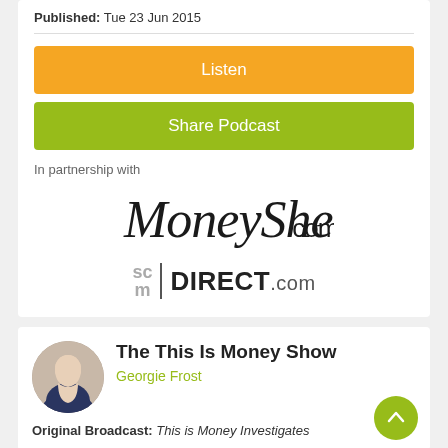Published: Tue 23 Jun 2015
[Figure (other): Orange Listen button]
[Figure (other): Green Share Podcast button]
In partnership with
[Figure (logo): MoneyShe.com logo in cursive script]
[Figure (logo): SC/M DIRECT.com logo]
The This Is Money Show
Georgie Frost
Original Broadcast: This is Money Investigates